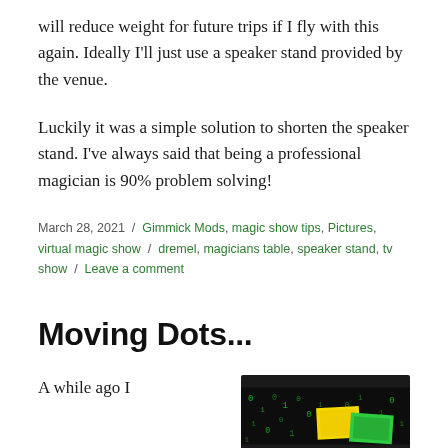will reduce weight for future trips if I fly with this again. Ideally I'll just use a speaker stand provided by the venue.
Luckily it was a simple solution to shorten the speaker stand. I've always said that being a professional magician is 90% problem solving!
March 28, 2021 / Gimmick Mods, magic show tips, Pictures, virtual magic show / dremel, magicians table, speaker stand, tv show / Leave a comment
Moving Dots...
A while ago I